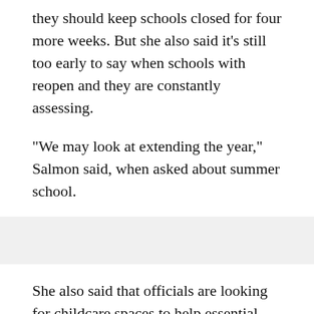they should keep schools closed for four more weeks. But she also said it's still too early to say when schools with reopen and they are constantly assessing.
"We may look at extending the year," Salmon said, when asked about summer school.
She also said that officials are looking for childcare spaces to help essential personnel that must report to work. That personnel can immediately call 1-877-261-0060 to locate child care options.
"For those essential personnel that are unable to provide care, we have worked diligently in the past